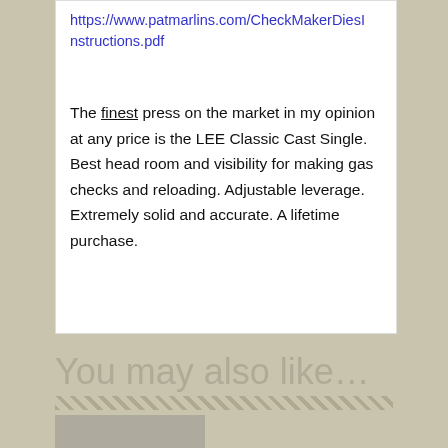https://www.patmarlins.com/CheckMakerDiesInstructions.pdf
The finest press on the market in my opinion at any price is the LEE Classic Cast Single. Best head room and visibility for making gas checks and reloading. Adjustable leverage. Extremely solid and accurate. A lifetime purchase.
You may also like…
[Figure (photo): Thumbnail photo partially visible at the bottom of the page]